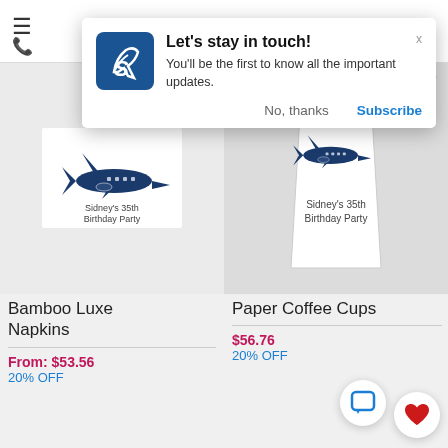[Figure (screenshot): Mobile website screenshot showing a notification popup 'Let's stay in touch!' with two product listings below: Bamboo Luxe Napkins and Paper Coffee Cups, both featuring airplane-printed party products.]
Let's stay in touch!
You'll be the first to know all the important updates.
No, thanks
Subscribe
Bamboo Luxe Napkins
From: $53.56
20% OFF
Paper Coffee Cups
$56.76
20% OFF